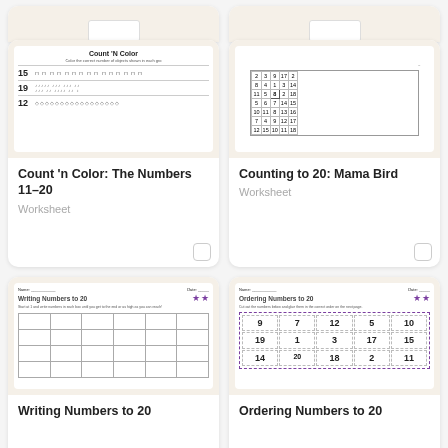[Figure (screenshot): Partial top of two worksheet cards (cropped)]
[Figure (screenshot): Thumbnail of Count N Color worksheet showing numbers 15, 19, 12 with icons]
Count 'n Color: The Numbers 11-20
Worksheet
[Figure (screenshot): Thumbnail of Counting to 20: Mama Bird worksheet with a number grid]
Counting to 20: Mama Bird
Worksheet
[Figure (screenshot): Thumbnail of Writing Numbers to 20 worksheet with empty grid table]
Writing Numbers to 20
[Figure (screenshot): Thumbnail of Ordering Numbers to 20 worksheet with numbers 9 7 12 5 10 / 19 1 3 17 15]
Ordering Numbers to 20